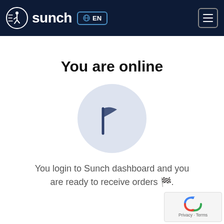sunch EN
You are online
[Figure (illustration): Flag icon inside a light blue-gray circle, representing online/active status]
You login to Sunch dashboard and you are ready to receive orders 🏁.
[Figure (logo): reCAPTCHA badge with spinning arrows logo, Privacy and Terms links]